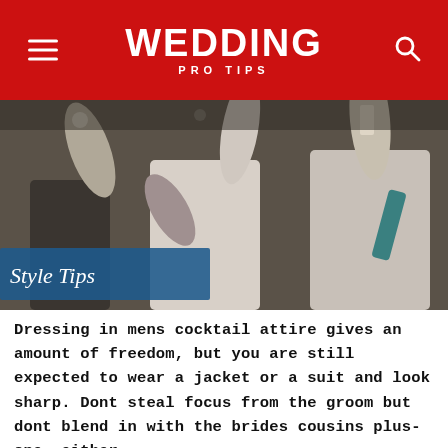WEDDING PRO TIPS
[Figure (photo): People at a wedding celebration, raising hands and drinks, in formal attire. A blue overlay label reads 'Style Tips' in italic serif font.]
Dressing in mens cocktail attire gives an amount of freedom, but you are still expected to wear a jacket or a suit and look sharp. Dont steal focus from the groom but dont blend in with the brides cousins plus-one, either.